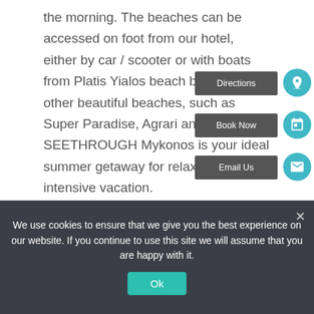the morning. The beaches can be accessed on foot from our hotel, either by car / scooter or with boats from Platis Yialos beach berthing to other beautiful beaches, such as Super Paradise, Agrari and Elia. SEETHROUGH Mykonos is your ideal summer getaway for relaxing and intensive vacation.
Distances from Island Attractions
Directions
Book Now
Email Us
We use cookies to ensure that we give you the best experience on our website. If you continue to use this site we will assume that you are happy with it.
Ok